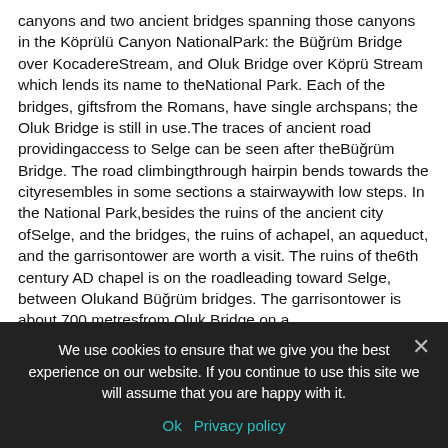canyons and two ancient bridges spanning those canyons in the Köprülü Canyon National Park: the Büğrüm Bridge over Kocadere Stream, and Oluk Bridge over Köprü Stream which lends its name to the National Park. Each of the bridges, gifts from the Romans, have single arch spans; the Oluk Bridge is still in use. The traces of ancient road providing access to Selge can be seen after the Büğrüm Bridge. The road climbing through hairpin bends towards the city resembles in some sections a stairway with low steps. In the National Park, besides the ruins of the ancient city of Selge, and the bridges, the ruins of a chapel, an aqueduct, and the garrison tower are worth a visit. The ruins of the 6th century AD chapel is on the road leading toward Selge, between Oluk and Büğrüm bridges. The garrison tower is about 700 metres from Oluk Bridge on a location commanding the ancient road, canyons and bridges. The ruins of the aqueducts supplying water to the two-story structure can also be seen.
We use cookies to ensure that we give you the best experience on our website. If you continue to use this site we will assume that you are happy with it.
Ok   Privacy policy